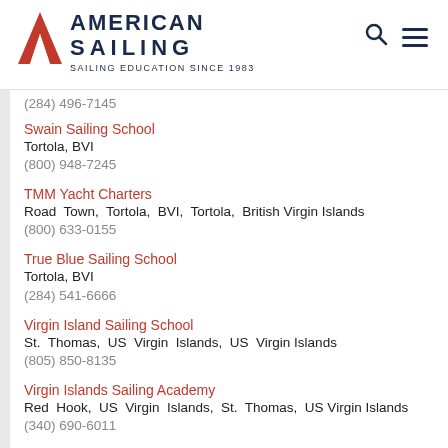[Figure (logo): American Sailing logo with red chevron/arrow icon, bold navy text 'AMERICAN SAILING' and tagline 'SAILING EDUCATION SINCE 1983']
(284) 496-7145
Swain Sailing School
Tortola, BVI
(800) 948-7245
TMM Yacht Charters
Road Town, Tortola, BVI, Tortola, British Virgin Islands
(800) 633-0155
True Blue Sailing School
Tortola, BVI
(284) 541-6666
Virgin Island Sailing School
St. Thomas, US Virgin Islands, US Virgin Islands
(805) 850-8135
Virgin Islands Sailing Academy
Red Hook, US Virgin Islands, St. Thomas, US Virgin Islands
(340) 690-6011